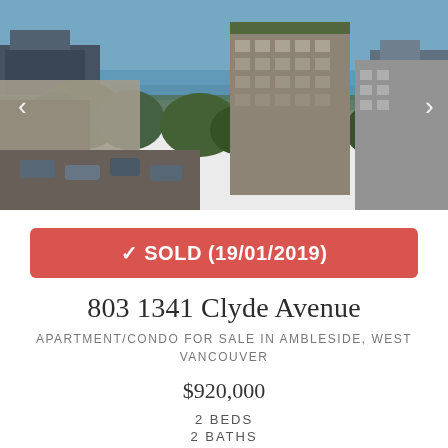[Figure (photo): Aerial/elevated photograph of a multi-storey apartment building in West Vancouver with water and cityscape visible in the background, surrounded by trees and other buildings with a parking area in the foreground.]
✔ SOLD (19/01/2019)
803 1341 Clyde Avenue
APARTMENT/CONDO FOR SALE IN AMBLESIDE, WEST VANCOUVER
$920,000
2 BEDS
2 BATHS